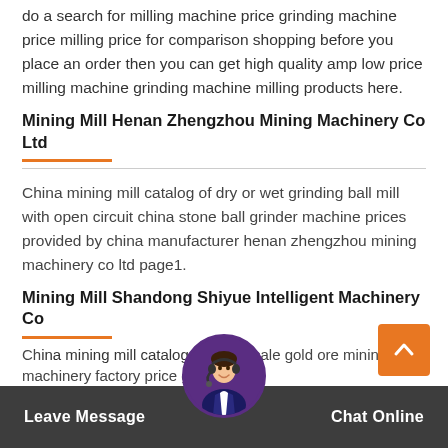do a search for milling machine price grinding machine price milling price for comparison shopping before you place an order then you can get high quality amp low price milling machine grinding machine milling products here.
Mining Mill Henan Zhengzhou Mining Machinery Co Ltd
China mining mill catalog of dry or wet grinding ball mill with open circuit china stone ball grinder machine prices provided by china manufacturer henan zhengzhou mining machinery co ltd page1.
Mining Mill Shandong Shiyue Intelligent Machinery Co
Ch... catalog... qualit... sale gold ore mining machinery factory price grinding...
Leave Message   Chat Online